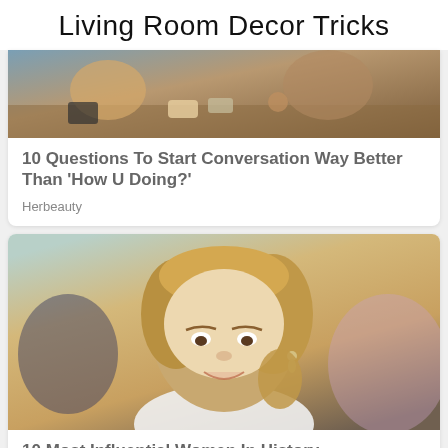Living Room Decor Tricks
[Figure (photo): People eating food at a casual outdoor setting]
10 Questions To Start Conversation Way Better Than 'How U Doing?'
Herbeauty
[Figure (photo): Portrait of a smiling woman with styled hair wearing a white outfit and drop earrings]
10 Most Influential Women In History
Herbeauty